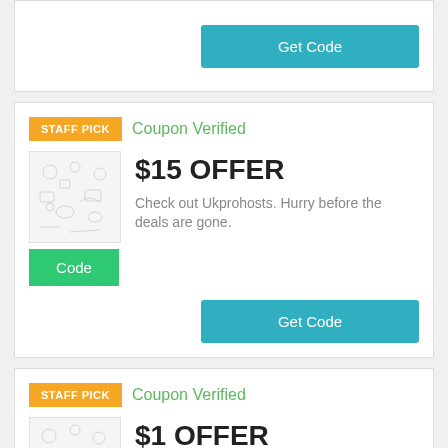[Figure (other): Get Code button (teal) at top of page, partial card visible]
[Figure (other): STAFF PICK badge (orange) with Coupon Verified label, $15 OFFER coupon card with thumbnail image, Code button, description text, and Get Code button]
Coupon Verified
$15 OFFER
Check out Ukprohosts. Hurry before the deals are gone.
[Figure (other): STAFF PICK badge (orange) with Coupon Verified label, $1 OFFER coupon card with thumbnail image, partial card at bottom]
Coupon Verified
$1 OFFER
Check out the popular deals